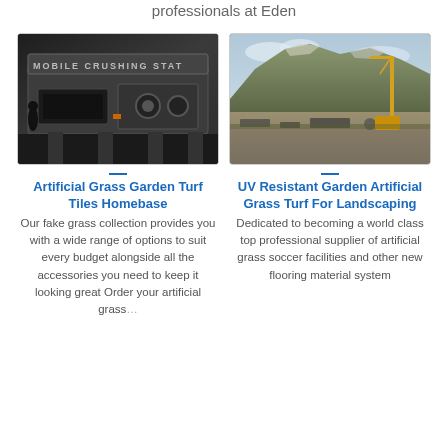professionals at Eden
[Figure (photo): A mobile crushing station machine indoors, dark industrial setting with text reading 'MOBILE CRUSHING STAT' visible on the machine.]
[Figure (photo): An outdoor construction site with a large rocky hill/quarry, crane visible, cloudy sky, debris on ground.]
Artificial Grass Garden Turf Tiles Homebase
Our fake grass collection provides you with a wide range of options to suit every budget alongside all the accessories you need to keep it looking great Order your artificial grass
UV Resistant Garden Artificial Grass Turf For Landscaping
Dedicated to becoming a world class top professional supplier of artificial grass soccer facilities and other new flooring material system